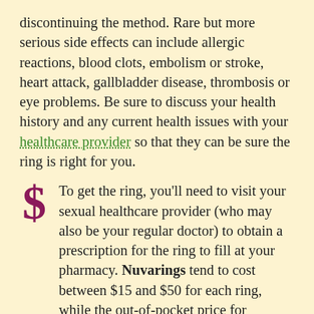discontinuing the method. Rare but more serious side effects can include allergic reactions, blood clots, embolism or stroke, heart attack, gallbladder disease, thrombosis or eye problems. Be sure to discuss your health history and any current health issues with your healthcare provider so that they can be sure the ring is right for you.
To get the ring, you'll need to visit your sexual healthcare provider (who may also be your regular doctor) to obtain a prescription for the ring to fill at your pharmacy. Nuvarings tend to cost between $15 and $50 for each ring, while the out-of-pocket price for Annovera is much higher.
Also be aware that certain medications and substances may interfere with the